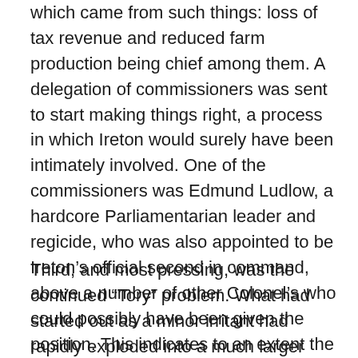which came from such things: loss of tax revenue and reduced farm production being chief among them. A delegation of commissioners was sent to start making things right, a process in which Ireton would surely have been intimately involved. One of the commissioners was Edmund Ludlow, a hardcore Parliamentarian leader and regicide, who was also appointed to be Ireton's official second in command, above a number of other Colonel's who could possibly have been given the position. This indicates to an extent the Parliamentarian approach to Ireland at this time, which was starting to greater mix military and civil initiatives together.
Third, and most pressing, was the continued “Tory” problem. What had started out as a minor irritant had rapidly exploded into a much larger issue, one that was actually threatening to overwhelm the Parliamentarian